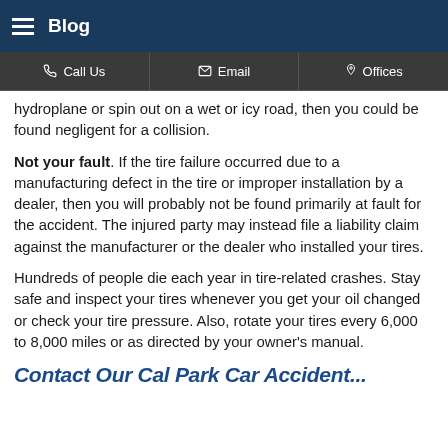Blog
Call Us | Email | Offices
hydroplane or spin out on a wet or icy road, then you could be found negligent for a collision.
Not your fault. If the tire failure occurred due to a manufacturing defect in the tire or improper installation by a dealer, then you will probably not be found primarily at fault for the accident. The injured party may instead file a liability claim against the manufacturer or the dealer who installed your tires.
Hundreds of people die each year in tire-related crashes. Stay safe and inspect your tires whenever you get your oil changed or check your tire pressure. Also, rotate your tires every 6,000 to 8,000 miles or as directed by your owner's manual.
Contact Our Cal Park Car Accident...